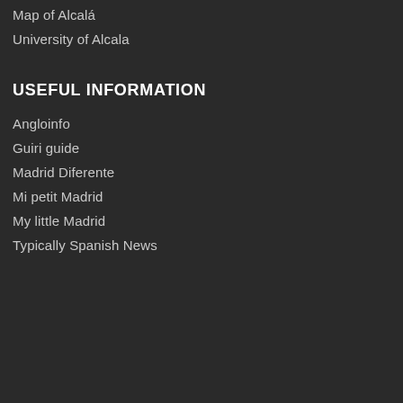Map of Alcalá
University of Alcala
USEFUL INFORMATION
Angloinfo
Guiri guide
Madrid Diferente
Mi petit Madrid
My little Madrid
Typically Spanish News